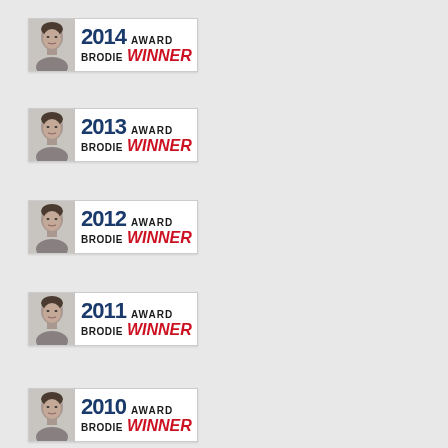[Figure (logo): 2014 Brodie Award Winner badge with a black and white portrait photo]
[Figure (logo): 2013 Brodie Award Winner badge with a black and white portrait photo]
[Figure (logo): 2012 Brodie Award Winner badge with a black and white portrait photo]
[Figure (logo): 2011 Brodie Award Winner badge with a black and white portrait photo]
[Figure (logo): 2010 Brodie Award Winner badge with a black and white portrait photo]